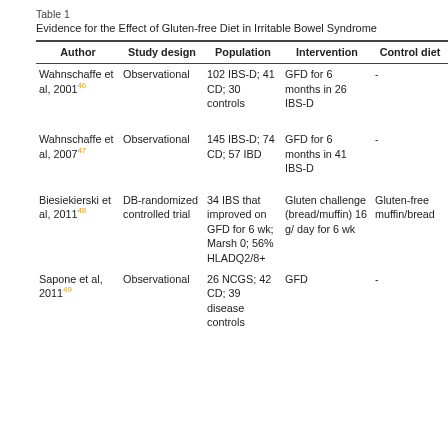Table 1
Evidence for the Effect of Gluten-free Diet in Irritable Bowel Syndrome
| Author | Study design | Population | Intervention | Control diet |
| --- | --- | --- | --- | --- |
| Wahnschaffe et al, 2001²⁶ | Observational | 102 IBS-D; 41 CD; 30 controls | GFD for 6 months in 26 IBS-D | - |
| Wahnschaffe et al, 2007²⁷ | Observational | 145 IBS-D; 74 CD; 57 IBD | GFD for 6 months in 41 IBS-D | - |
| Biesiekierski et al, 2011²⁸ | DB-randomized controlled trial | 34 IBS that improved on GFD for 6 wk; Marsh 0; 56% HLADQ2/8+ | Gluten challenge (bread/muffin) 16 g/ day for 6 wk | Gluten-free muffin/bread |
| Sapone et al, 2011²⁹ | Observational | 26 NCGS; 42 CD; 39 disease controls | GFD | - |